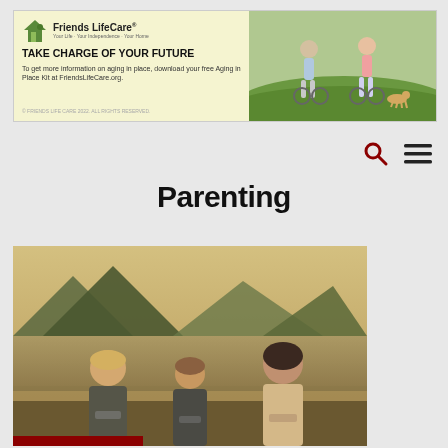[Figure (illustration): Friends LifeCare advertisement banner with logo, headline 'TAKE CHARGE OF YOUR FUTURE', body text about aging in place, and photo of couple with bicycles and dog outdoors.]
[Figure (illustration): Navigation bar with search (magnifying glass) icon and hamburger menu icon on the right side.]
Parenting
[Figure (photo): Three children seen from behind looking out over a lake with mountains in the background, wearing t-shirts.]